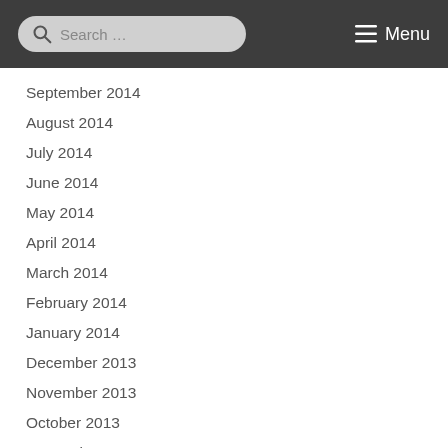Search ... Menu
September 2014
August 2014
July 2014
June 2014
May 2014
April 2014
March 2014
February 2014
January 2014
December 2013
November 2013
October 2013
September 2013
August 2013
July 2013